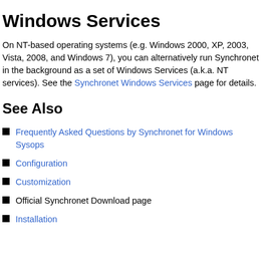Windows Services
On NT-based operating systems (e.g. Windows 2000, XP, 2003, Vista, 2008, and Windows 7), you can alternatively run Synchronet in the background as a set of Windows Services (a.k.a. NT services). See the Synchronet Windows Services page for details.
See Also
Frequently Asked Questions by Synchronet for Windows Sysops
Configuration
Customization
Official Synchronet Download page
Installation